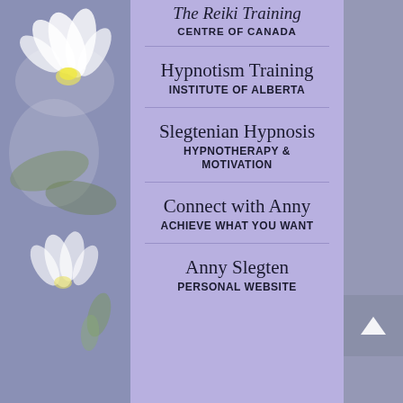[Figure (photo): White lotus/water lily flowers on a muted blue-gray background, left panel]
The Reiki Training
CENTRE OF CANADA
Hypnotism Training
INSTITUTE OF ALBERTA
Slegtenian Hypnosis
HYPNOTHERAPY & MOTIVATION
Connect with Anny
ACHIEVE WHAT YOU WANT
Anny Slegten
PERSONAL WEBSITE